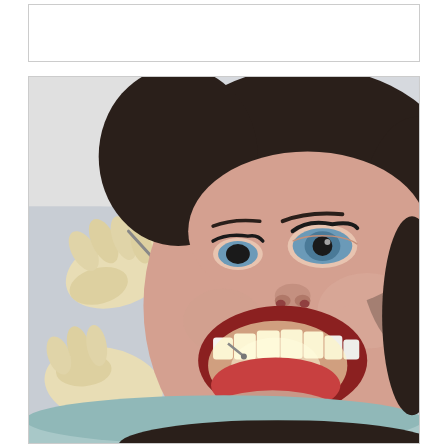[Figure (photo): Empty white box at top of page, possibly a placeholder or header image area.]
[Figure (photo): Close-up photograph of a female patient with dark hair and blue eyes lying in a dental chair with her mouth open, while a dentist wearing latex gloves examines her teeth using a dental pick/explorer tool. The patient is wearing a light blue dental bib. The dental light illuminates the oral cavity.]